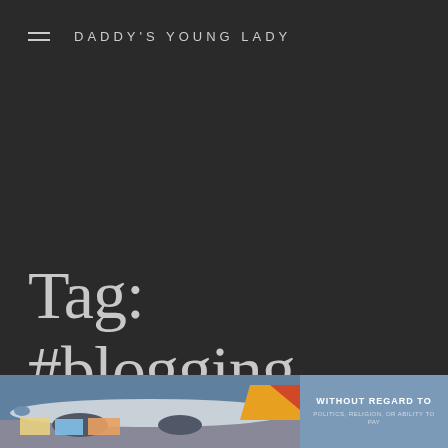DADDY'S YOUNG LADY
Tag: #blogging
[Figure (photo): Airplane on tarmac being loaded with cargo, showing colorful tail with red, yellow, orange livery. Side banner reads 'WITHOUT REGARD TO POLITICS, RELIGION, OR ABILITY TO PAY']